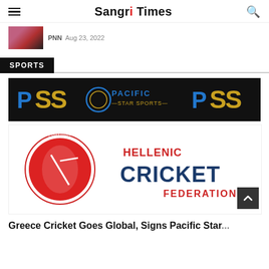Sangri Times
PNN  Aug 23, 2022
SPORTS
[Figure (logo): Pacific Star Sports (PSS) logo banner on black background with blue and gold lettering]
[Figure (logo): Hellenic Cricket Federation logo with a cricket player illustration and red/navy blue text]
Greece Cricket Goes Global, Signs Pacific Star...